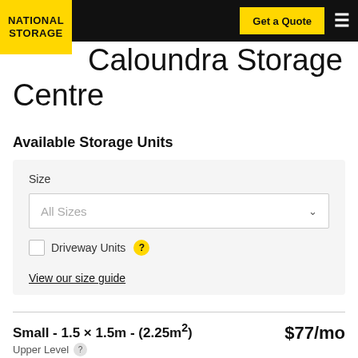Get a Quote
Caloundra Storage Centre
Available Storage Units
Size
All Sizes
Driveway Units
View our size guide
Small - 1.5 × 1.5m - (2.25m²) $77/mo
Upper Level